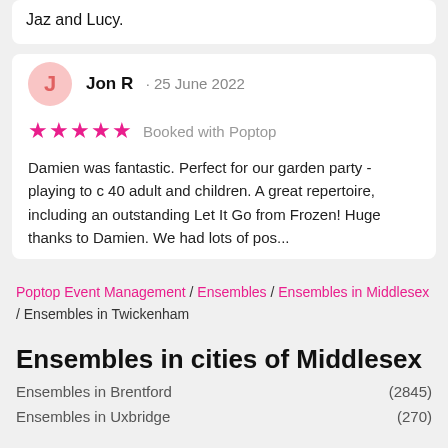Jaz and Lucy.
Jon R · 25 June 2022
★★★★★ Booked with Poptop
Damien was fantastic. Perfect for our garden party - playing to c 40 adult and children. A great repertoire, including an outstanding Let It Go from Frozen! Huge thanks to Damien. We had lots of pos...
Poptop Event Management / Ensembles / Ensembles in Middlesex / Ensembles in Twickenham
Ensembles in cities of Middlesex
Ensembles in Brentford (2845)
Ensembles in Uxbridge (270)